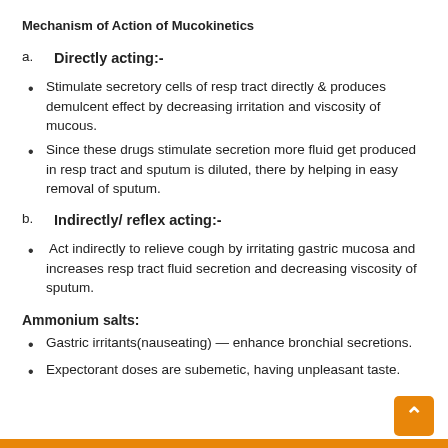Mechanism of Action of Mucokinetics
a.   Directly acting:-
Stimulate secretory cells of resp tract directly & produces demulcent effect by decreasing irritation and viscosity of mucous.
Since these drugs stimulate secretion more fluid get produced in resp tract and sputum is diluted, there by helping in easy removal of sputum.
b.   Indirectly/ reflex acting:-
Act indirectly to relieve cough by irritating gastric mucosa and increases resp tract fluid secretion and decreasing viscosity of sputum.
Ammonium salts:
Gastric irritants(nauseating) — enhance bronchial secretions.
Expectorant doses are subemetic, having unpleasant taste.